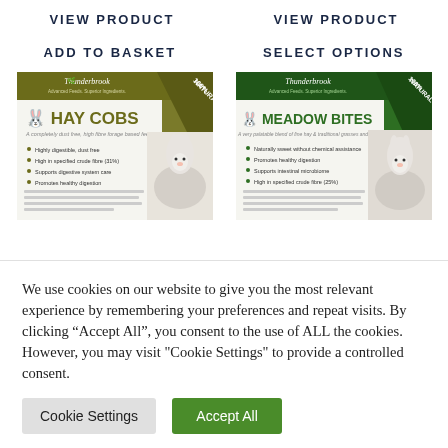VIEW PRODUCT
VIEW PRODUCT
ADD TO BASKET
SELECT OPTIONS
[Figure (photo): Thunderbrook Hay Cobs product packaging showing a rabbit, olive/khaki colored box with '100% Natural' banner]
[Figure (photo): Thunderbrook Meadow Bites product packaging showing a rabbit, green colored box with '100% Natural' banner]
We use cookies on our website to give you the most relevant experience by remembering your preferences and repeat visits. By clicking “Accept All”, you consent to the use of ALL the cookies. However, you may visit "Cookie Settings" to provide a controlled consent.
Cookie Settings
Accept All